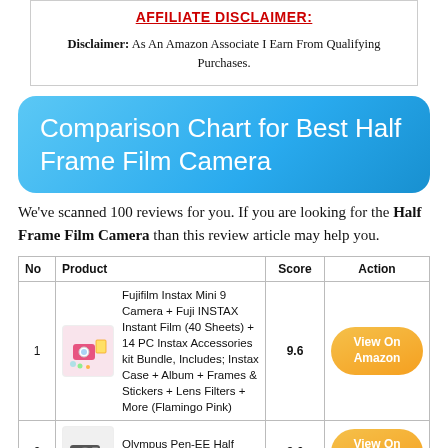AFFILIATE DISCLAIMER:
Disclaimer: As An Amazon Associate I Earn From Qualifying Purchases.
Comparison Chart for Best Half Frame Film Camera
We've scanned 100 reviews for you. If you are looking for the Half Frame Film Camera than this review article may help you.
| No | Product | Score | Action |
| --- | --- | --- | --- |
| 1 | Fujifilm Instax Mini 9 Camera + Fuji INSTAX Instant Film (40 Sheets) + 14 PC Instax Accessories kit Bundle, Includes; Instax Case + Album + Frames & Stickers + Lens Filters + More (Flamingo Pink) | 9.6 | View On Amazon |
| 2 | Olympus Pen-EE Half Frame 35mm Camera | 9.6 | View On Amazon |